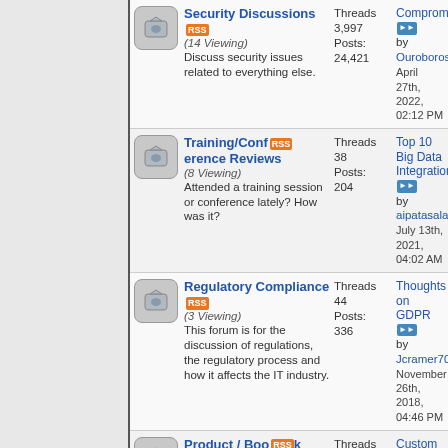Security Discussions (14 Viewing) Discuss security issues related to everything else. Threads: 3,997 Posts: 24,421 Last post: Compromised by Ouroboros April 27th, 2022, 02:12 PM
Training/Conference Reviews (8 Viewing) Attended a training session or conference lately? How was it? Threads: 38 Posts: 204 Last post: Top 10 Big Data Integration... by aipatasala July 13th, 2021, 04:02 AM
Regulatory Compliance (3 Viewing) This forum is for the discussion of regulations, the regulatory process and how it affects the IT industry. Threads: 44 Posts: 336 Last post: Thoughts on GDPR by Jcramer706 November 26th, 2018, 04:46 PM
Product / Book Training / Conference Reviews (3 Viewing) Talk about security products that you've used, books that you've read, conferences and/or training Threads: 442 Posts: 2,220 Last post: Custom In-Ear... by pyniq March 11th, 2022, 06:40 PM